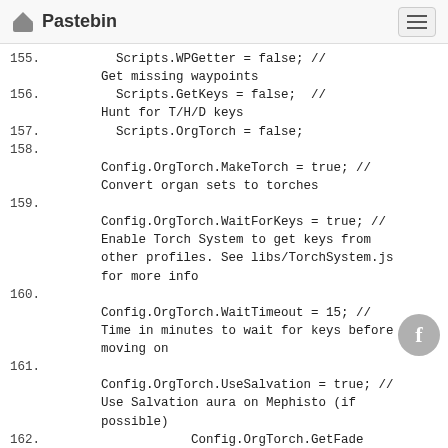Pastebin
155.        Scripts.WPGetter = false; //
      Get missing waypoints
156.        Scripts.GetKeys = false;  //
      Hunt for T/H/D keys
157.        Scripts.OrgTorch = false;
158.
      Config.OrgTorch.MakeTorch = true; //
      Convert organ sets to torches
159.
      Config.OrgTorch.WaitForKeys = true; //
      Enable Torch System to get keys from
      other profiles. See libs/TorchSystem.js
      for more info
160.
      Config.OrgTorch.WaitTimeout = 15; //
      Time in minutes to wait for keys before
      moving on
161.
      Config.OrgTorch.UseSalvation = true; //
      Use Salvation aura on Mephisto (if
      possible)
162.                  Config.OrgTorch.GetFade
      = false; // Get fade by standing in a
      fire. You MUST have Last Wish or